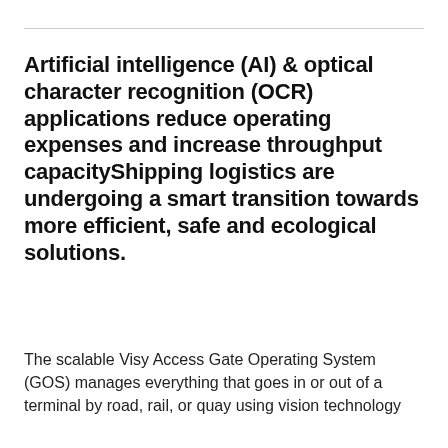Artificial intelligence (AI) & optical character recognition (OCR) applications reduce operating expenses and increase throughput capacityShipping logistics are undergoing a smart transition towards more efficient, safe and ecological solutions.
The scalable Visy Access Gate Operating System (GOS) manages everything that goes in or out of a terminal by road, rail, or quay using vision technology